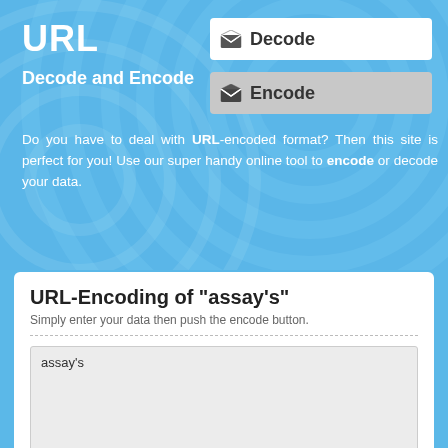URL
Decode and Encode
[Figure (screenshot): Decode button — white rounded rectangle with open envelope icon and bold text 'Decode']
[Figure (screenshot): Encode button — grey rounded rectangle with closed envelope icon and bold text 'Encode']
Do you have to deal with URL-encoded format? Then this site is perfect for you! Use our super handy online tool to encode or decode your data.
URL-Encoding of "assay's"
Simply enter your data then push the encode button.
assay's